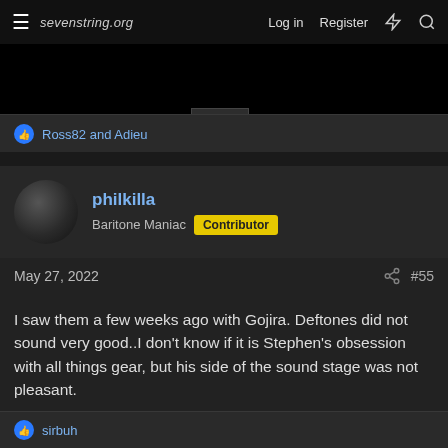sevenstring.org — Log in | Register
Ross82 and Adieu
philkilla
Baritone Maniac  Contributor
May 27, 2022  #55
I saw them a few weeks ago with Gojira. Deftones did not sound very good..I don't know if it is Stephen's obsession with all things gear, but his side of the sound stage was not pleasant.

Gojira on the other hand sounded awesome, not that that should be a surprise.
sirbuh